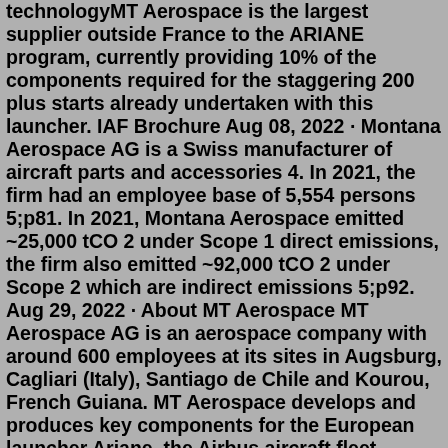technologyMT Aerospace is the largest supplier outside France to the ARIANE program, currently providing 10% of the components required for the staggering 200 plus starts already undertaken with this launcher. IAF Brochure Aug 08, 2022 · Montana Aerospace AG is a Swiss manufacturer of aircraft parts and accessories 4. In 2021, the firm had an employee base of 5,554 persons 5;p81. In 2021, Montana Aerospace emitted ~25,000 tCO 2 under Scope 1 direct emissions, the firm also emitted ~92,000 tCO 2 under Scope 2 which are indirect emissions 5;p92. Aug 29, 2022 · About MT Aerospace MT Aerospace AG is an aerospace company with around 600 employees at its sites in Augsburg, Cagliari (Italy), Santiago de Chile and Kourou, French Guiana. MT Aerospace develops and produces key components for the European launcher Ariane, the Airbus aircraft fleet, spacecraft and satellites. For more than 35 years, Derco has provided logistics and technical support for fixed-wing aircraft. They are an industry leader, offering a suite of fleet management